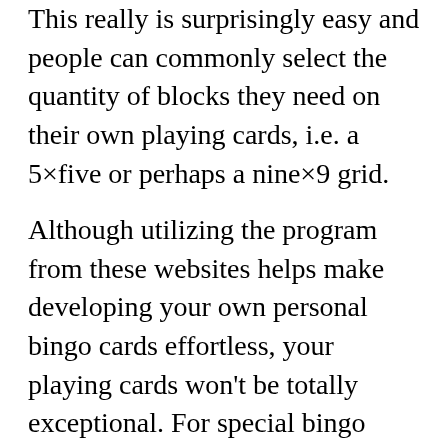This really is surprisingly easy and people can commonly select the quantity of blocks they need on their own playing cards, i.e. a 5×five or perhaps a nine×9 grid.
Although utilizing the program from these websites helps make developing your own personal bingo cards effortless, your playing cards won't be totally exceptional. For special bingo playing cards, It's important to generate your personal homemade ones. Generating your very own bingo playing cards can be plenty of enjoyable and all your family and friends can Take part the venture.